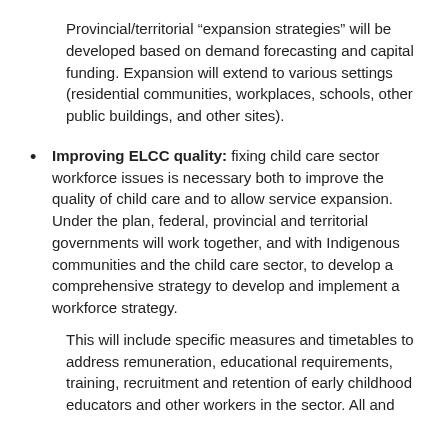Provincial/territorial “expansion strategies” will be developed based on demand forecasting and capital funding. Expansion will extend to various settings (residential communities, workplaces, schools, other public buildings, and other sites).
Improving ELCC quality: fixing child care sector workforce issues is necessary both to improve the quality of child care and to allow service expansion. Under the plan, federal, provincial and territorial governments will work together, and with Indigenous communities and the child care sector, to develop a comprehensive strategy to develop and implement a workforce strategy.
This will include specific measures and timetables to address remuneration, educational requirements, training, recruitment and retention of early childhood educators and other workers in the sector. All and